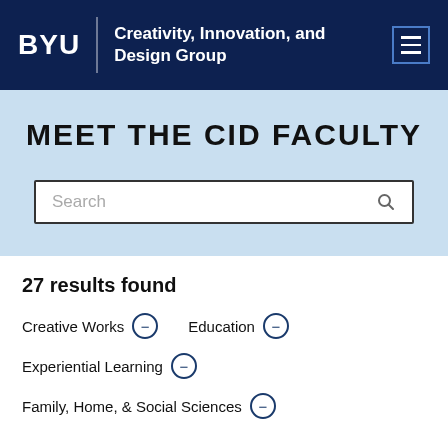BYU | Creativity, Innovation, and Design Group
MEET THE CID FACULTY
27 results found
Creative Works ⊖   Education ⊖
Experiential Learning ⊖
Family, Home, & Social Sciences ⊖